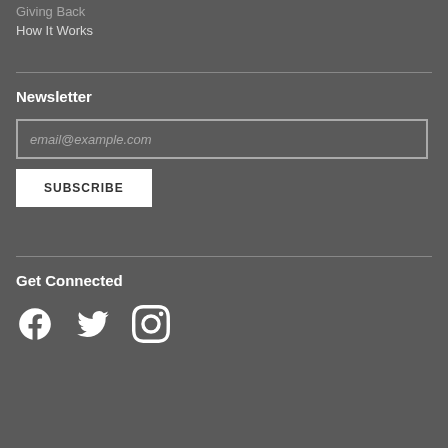Giving Back
How It Works
Newsletter
email@example.com
SUBSCRIBE
Get Connected
[Figure (illustration): Social media icons: Facebook, Twitter, Instagram]